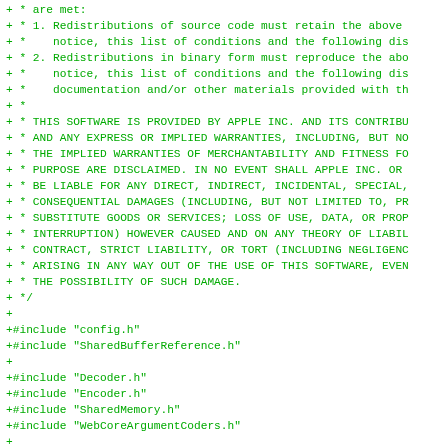+ * are met:
+ * 1. Redistributions of source code must retain the above
+ *    notice, this list of conditions and the following dis
+ * 2. Redistributions in binary form must reproduce the abo
+ *    notice, this list of conditions and the following dis
+ *    documentation and/or other materials provided with th
+ *
+ * THIS SOFTWARE IS PROVIDED BY APPLE INC. AND ITS CONTRIBU
+ * AND ANY EXPRESS OR IMPLIED WARRANTIES, INCLUDING, BUT NO
+ * THE IMPLIED WARRANTIES OF MERCHANTABILITY AND FITNESS FO
+ * PURPOSE ARE DISCLAIMED. IN NO EVENT SHALL APPLE INC. OR
+ * BE LIABLE FOR ANY DIRECT, INDIRECT, INCIDENTAL, SPECIAL,
+ * CONSEQUENTIAL DAMAGES (INCLUDING, BUT NOT LIMITED TO, PR
+ * SUBSTITUTE GOODS OR SERVICES; LOSS OF USE, DATA, OR PROP
+ * INTERRUPTION) HOWEVER CAUSED AND ON ANY THEORY OF LIABIL
+ * CONTRACT, STRICT LIABILITY, OR TORT (INCLUDING NEGLIGENC
+ * ARISING IN ANY WAY OUT OF THE USE OF THIS SOFTWARE, EVEN
+ * THE POSSIBILITY OF SUCH DAMAGE.
+ */
+
+#include "config.h"
+#include "SharedBufferReference.h"
+
+#include "Decoder.h"
+#include "Encoder.h"
+#include "SharedMemory.h"
+#include "WebCoreArgumentCoders.h"
+
+namespace IPC {
+
+using namespace WebCore;
+using namespace WebKit;